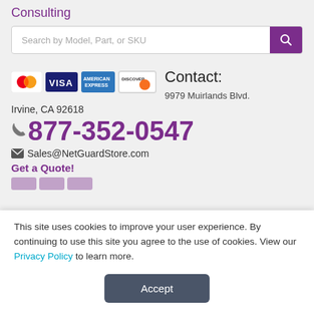Consulting
[Figure (screenshot): Search bar with placeholder text 'Search by Model, Part, or SKU' and a purple search button with magnifying glass icon]
[Figure (infographic): Payment card logos: MasterCard, VISA, American Express, Discover]
Contact:
9979 Muirlands Blvd.
Irvine, CA 92618
877-352-0547
Sales@NetGuardStore.com
Get a Quote!
This site uses cookies to improve your user experience. By continuing to use this site you agree to the use of cookies. View our Privacy Policy to learn more.
Accept